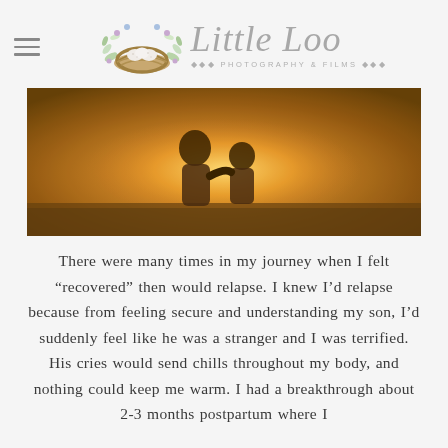[Figure (logo): Little Loo Photography & Films logo with nest and eggs illustration and script text]
[Figure (photo): Two people from behind, silhouetted against a warm golden sunset light, one with arm around the other, outdoors in an open field]
There were many times in my journey when I felt “recovered” then would relapse. I knew I’d relapse because from feeling secure and understanding my son, I’d suddenly feel like he was a stranger and I was terrified. His cries would send chills throughout my body, and nothing could keep me warm. I had a breakthrough about 2-3 months postpartum where I